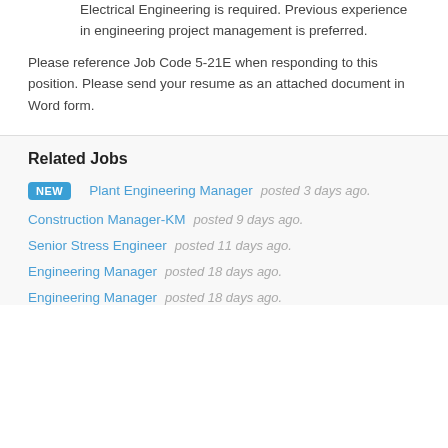Electrical Engineering is required. Previous experience in engineering project management is preferred.
Please reference Job Code 5-21E when responding to this position. Please send your resume as an attached document in Word form.
Related Jobs
NEW   Plant Engineering Manager   posted 3 days ago.
Construction Manager-KM   posted 9 days ago.
Senior Stress Engineer   posted 11 days ago.
Engineering Manager   posted 18 days ago.
Engineering Manager   posted 18 days ago.